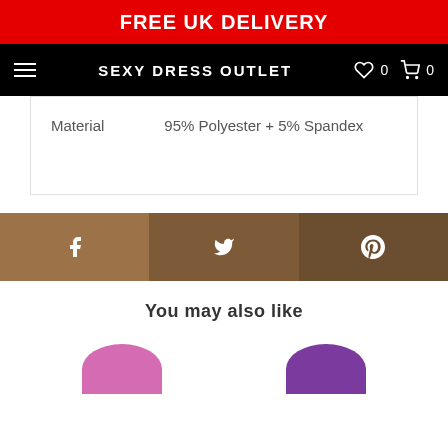FREE UK DELIVERY
SEXY DRESS OUTLET
| Material | 95% Polyester + 5% Spandex |
| --- | --- |
[Figure (infographic): Social sharing bar with Facebook, Twitter, and Pinterest icons in brown/tan tones]
You may also like
[Figure (photo): Two partially visible product thumbnail circles at the bottom of the page, pink and purple colored]